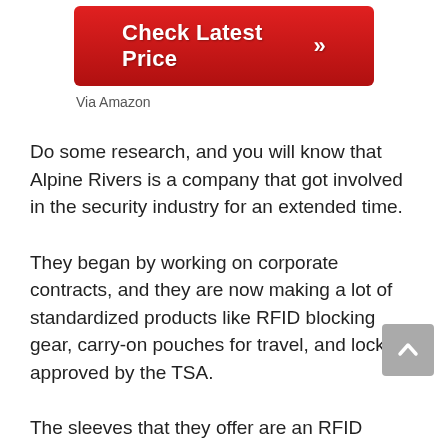[Figure (other): Red button with white bold text 'Check Latest Price >>']
Via Amazon
Do some research, and you will know that Alpine Rivers is a company that got involved in the security industry for an extended time.
They began by working on corporate contracts, and they are now making a lot of standardized products like RFID blocking gear, carry-on pouches for travel, and locks approved by the TSA.
The sleeves that they offer are an RFID solution that is highly minimalistic as it